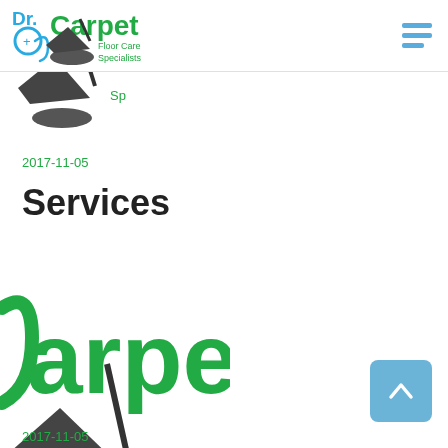[Figure (logo): Dr. Carpet Floor Care Specialists logo with stethoscope and vacuum cleaner silhouette in blue and green]
[Figure (logo): Hamburger menu icon (three horizontal blue lines) top right]
[Figure (logo): Partial Dr. Carpet logo cropped at top of content area showing vacuum and 'Sp' text]
2017-11-05
Services
[Figure (logo): Large partial Dr. Carpet logo showing 'arpet' in green and partial vacuum silhouette with 'Fl' and 'Sp' text]
[Figure (other): Back to top button - blue rounded square with upward chevron arrow]
2017-11-05